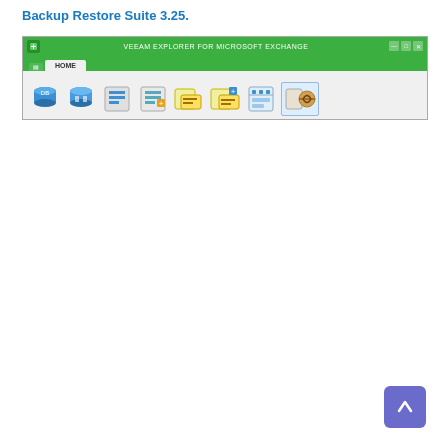Backup Restore Suite 3.25.
[Figure (screenshot): Screenshot of VEEAM EXPLORER FOR MICROSOFT EXCHANGE application window showing green title bar, HOME ribbon tab, and toolbar with multiple icons for database/mail operations.]